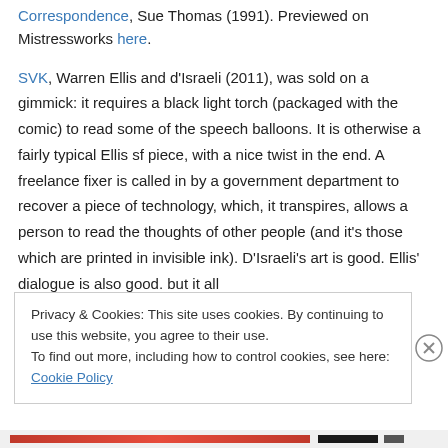Correspondence, Sue Thomas (1991). Previewed on Mistressworks here.
SVK, Warren Ellis and d'Israeli (2011), was sold on a gimmick: it requires a black light torch (packaged with the comic) to read some of the speech balloons. It is otherwise a fairly typical Ellis sf piece, with a nice twist in the end. A freelance fixer is called in by a government department to recover a piece of technology, which, it transpires, allows a person to read the thoughts of other people (and it's those which are printed in invisible ink). D'Israeli's art is good. Ellis' dialogue is also good. but it all
Privacy & Cookies: This site uses cookies. By continuing to use this website, you agree to their use.
To find out more, including how to control cookies, see here: Cookie Policy
Close and accept